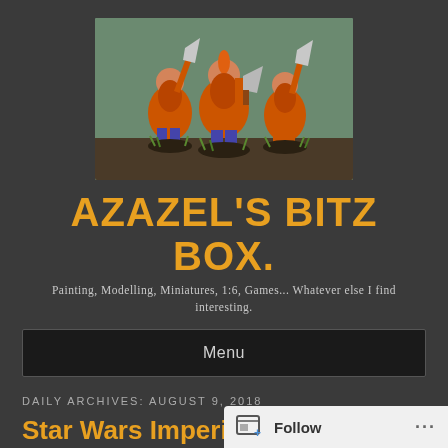[Figure (photo): Three painted fantasy dwarf miniature figurines holding axes, on round bases with grass tufts, against a dark green background]
AZAZEL'S BITZ BOX.
Painting, Modelling, Miniatures, 1:6, Games... Whatever else I find interesting.
Menu
DAILY ARCHIVES: AUGUST 9, 2018
Star Wars Imperial Assault: Imperial
Follow